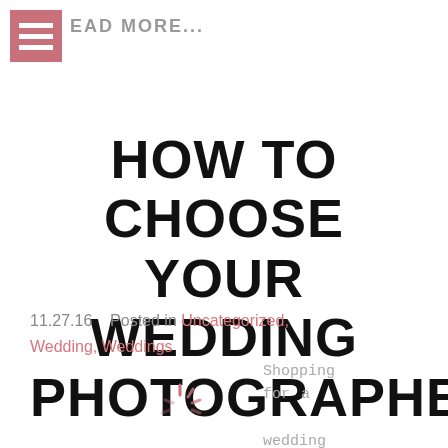READ MORE...
HOW TO CHOOSE YOUR WEDDING PHOTOGRAPHER
11.27.16    Posted in Uncategorized, Wedding, Weddings
Shopping for a wedding photographer? In this
[Figure (illustration): Loading spinner icon, partial view at bottom of page]